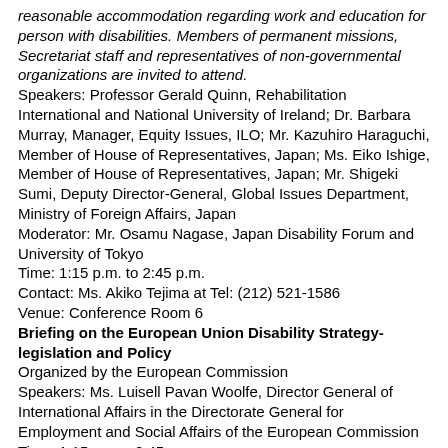reasonable accommodation regarding work and education for person with disabilities. Members of permanent missions, Secretariat staff and representatives of non-governmental organizations are invited to attend. Speakers: Professor Gerald Quinn, Rehabilitation International and National University of Ireland; Dr. Barbara Murray, Manager, Equity Issues, ILO; Mr. Kazuhiro Haraguchi, Member of House of Representatives, Japan; Ms. Eiko Ishige, Member of House of Representatives, Japan; Mr. Shigeki Sumi, Deputy Director-General, Global Issues Department, Ministry of Foreign Affairs, Japan Moderator: Mr. Osamu Nagase, Japan Disability Forum and University of Tokyo Time: 1:15 p.m. to 2:45 p.m. Contact: Ms. Akiko Tejima at Tel: (212) 521-1586 Venue: Conference Room 6
Briefing on the European Union Disability Strategy-legislation and Policy
Organized by the European Commission Speakers: Ms. Luisell Pavan Woolfe, Director General of International Affairs in the Directorate General for Employment and Social Affairs of the European Commission Time: 1:15 p.m. - 2:45 p.m.